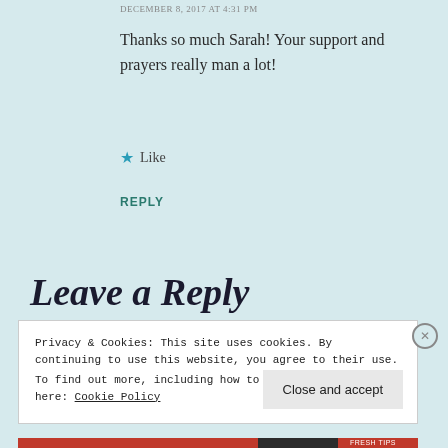DECEMBER 8, 2017 AT 4:31 PM
Thanks so much Sarah! Your support and prayers really man a lot!
★ Like
REPLY
Leave a Reply
Privacy & Cookies: This site uses cookies. By continuing to use this website, you agree to their use.
To find out more, including how to control cookies, see here: Cookie Policy
Close and accept